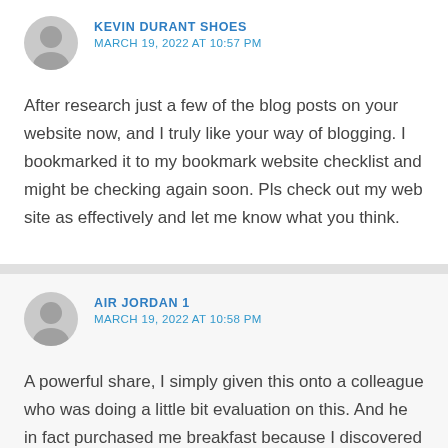KEVIN DURANT SHOES
MARCH 19, 2022 AT 10:57 PM
After research just a few of the blog posts on your website now, and I truly like your way of blogging. I bookmarked it to my bookmark website checklist and might be checking again soon. Pls check out my web site as effectively and let me know what you think.
AIR JORDAN 1
MARCH 19, 2022 AT 10:58 PM
A powerful share, I simply given this onto a colleague who was doing a little bit evaluation on this. And he in fact purchased me breakfast because I discovered it